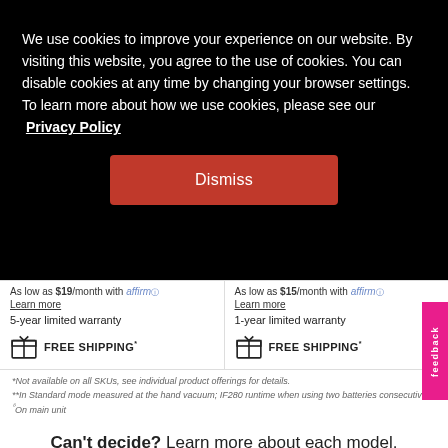We use cookies to improve your experience on our website. By visiting this website, you agree to the use of cookies. You can disable cookies at any time by changing your browser settings. To learn more about how we use cookies, please see our Privacy Policy
Dismiss
As low as $19/month with affirm
Learn more
5-year limited warranty
FREE SHIPPING*
As low as $15/month with affirm
Learn more
1-year limited warranty
FREE SHIPPING*
*Not available on all SKUs, see individual product offerings for details.
**In Standard mode measured at the hand vacuum; IF280 runtime when using two batteries consecutively.
ᵟOn main unit
Can't decide? Learn more about each model.
Compare models